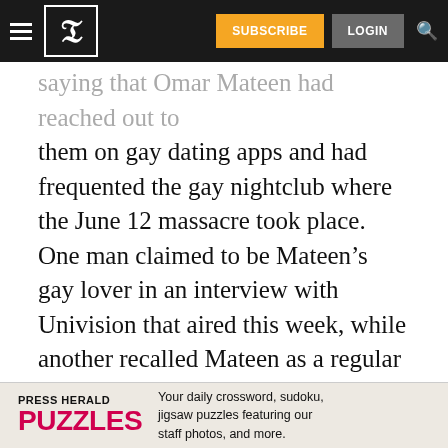SUBSCRIBE | LOGIN
saying that Omar Mateen had reached out to them on gay dating apps and had frequented the gay nightclub where the June 12 massacre took place. One man claimed to be Mateen’s gay lover in an interview with Univision that aired this week, while another recalled Mateen as a regular at the Pulse club who tried to pick up men.

But the officials say the FBI, which has conducted about 500 interviews and is reviewing evidence collected from Mateen’s
[Figure (other): Press Herald Puzzles advertisement banner: 'Your daily crossword, sudoku, jigsaw puzzles featuring our staff photos, and more.']